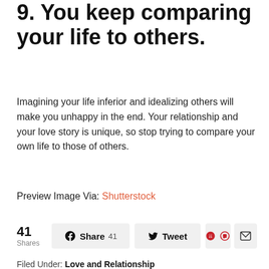9. You keep comparing your life to others.
Imagining your life inferior and idealizing others will make you unhappy in the end. Your relationship and your love story is unique, so stop trying to compare your own life to those of others.
Preview Image Via: Shutterstock
41 Shares | Share 41 | Tweet | Pinterest | Email
Filed Under: Love and Relationship